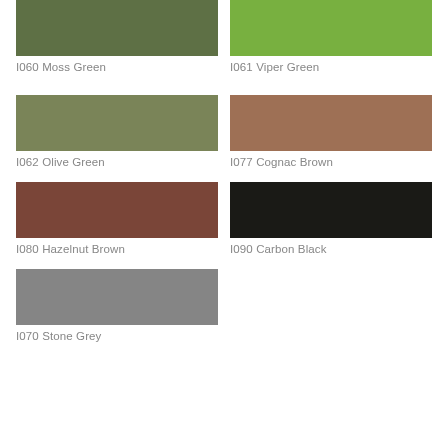[Figure (illustration): Color swatch: I060 Moss Green - dark olive/moss green rectangle]
I060 Moss Green
[Figure (illustration): Color swatch: I061 Viper Green - bright medium green rectangle]
I061 Viper Green
[Figure (illustration): Color swatch: I062 Olive Green - muted olive green rectangle]
I062 Olive Green
[Figure (illustration): Color swatch: I077 Cognac Brown - warm mid-tone brown rectangle]
I077 Cognac Brown
[Figure (illustration): Color swatch: I080 Hazelnut Brown - dark reddish brown rectangle]
I080 Hazelnut Brown
[Figure (illustration): Color swatch: I090 Carbon Black - very dark near-black rectangle]
I090 Carbon Black
[Figure (illustration): Color swatch: I070 Stone Grey - medium grey rectangle]
I070 Stone Grey